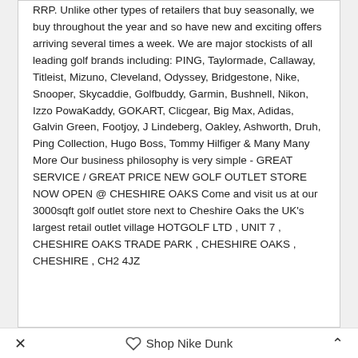RRP. Unlike other types of retailers that buy seasonally, we buy throughout the year and so have new and exciting offers arriving several times a week. We are major stockists of all leading golf brands including: PING, Taylormade, Callaway, Titleist, Mizuno, Cleveland, Odyssey, Bridgestone, Nike, Snooper, Skycaddie, Golfbuddy, Garmin, Bushnell, Nikon, Izzo PowaKaddy, GOKART, Clicgear, Big Max, Adidas, Galvin Green, Footjoy, J Lindeberg, Oakley, Ashworth, Druh, Ping Collection, Hugo Boss, Tommy Hilfiger & Many Many More Our business philosophy is very simple - GREAT SERVICE / GREAT PRICE NEW GOLF OUTLET STORE NOW OPEN @ CHESHIRE OAKS Come and visit us at our 3000sqft golf outlet store next to Cheshire Oaks the UK's largest retail outlet village HOTGOLF LTD , UNIT 7 , CHESHIRE OAKS TRADE PARK , CHESHIRE OAKS , CHESHIRE , CH2 4JZ
Payment Please pay using your Paypal account or call us on 0151 356 3254 to pay over the phone
Shop Nike Dunk